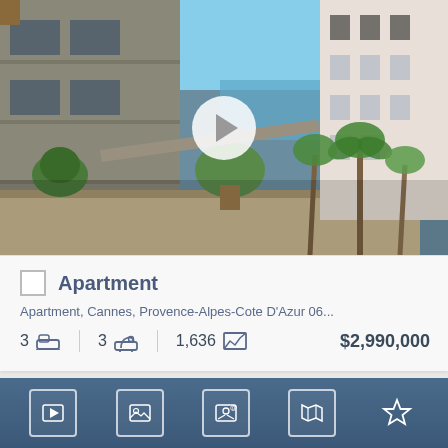[Figure (photo): Luxury apartment building with terraces and palm trees in Cannes, French Riviera, with the Mediterranean sea visible in the background. A play button overlay is centered on the image.]
Apartment
Apartment, Cannes, Provence-Alpes-Cote D'Azur 06...
3  [bed icon]  3  [bath icon]  1,636  [area icon]  $2,990,000
[Figure (screenshot): Partial view of a second property card showing a toolbar with video play, photos, contact, map, and favorite (star) icons on a dark blue background.]